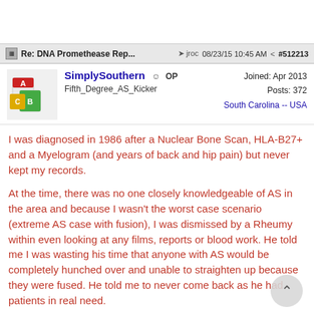Re: DNA Promethease Rep...  jroc  08/23/15 10:45 AM  #512213
SimplySouthern  OP
Fifth_Degree_AS_Kicker
Joined: Apr 2013
Posts: 372
South Carolina -- USA
I was diagnosed in 1986 after a Nuclear Bone Scan, HLA-B27+ and a Myelogram (and years of back and hip pain) but never kept my records.
At the time, there was no one closely knowledgeable of AS in the area and because I wasn't the worst case scenario (extreme AS case with fusion), I was dismissed by a Rheumy within even looking at any films, reports or blood work. He told me I was wasting his time that anyone with AS would be completely hunched over and unable to straighten up because they were fused. He told me to never come back as he had patients in real need.
Needless to say, I was so humiliated that @%LL would have frozen over before I went through that again so I walked away and refused